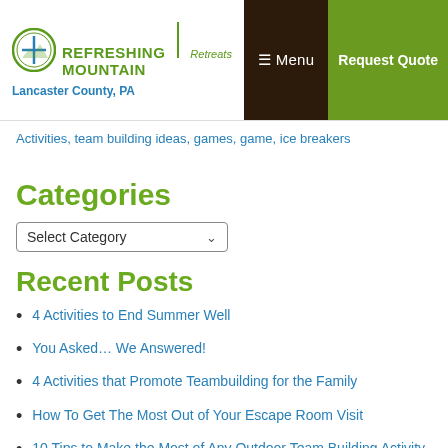Refreshing Mountain Retreats | Lancaster County, PA | Menu | Request Quote
Activities, team building ideas, games, game, ice breakers
Categories
Select Category
Recent Posts
4 Activities to End Summer Well
You Asked… We Answered!
4 Activities that Promote Teambuilding for the Family
How To Get The Most Out of Your Escape Room Visit
10 Tips to Make the Most of Any Outdoor Team Building Activity